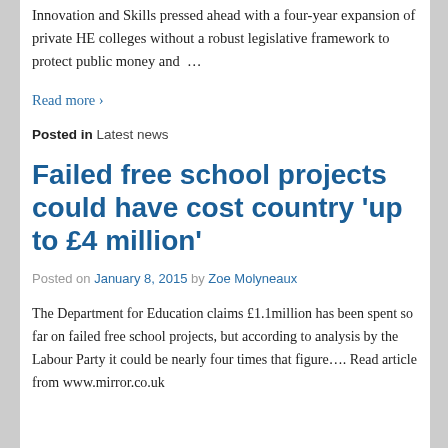Innovation and Skills pressed ahead with a four-year expansion of private HE colleges without a robust legislative framework to protect public money and …
Read more ›
Posted in Latest news
Failed free school projects could have cost country 'up to £4 million'
Posted on January 8, 2015 by Zoe Molyneaux
The Department for Education claims £1.1million has been spent so far on failed free school projects, but according to analysis by the Labour Party it could be nearly four times that figure…. Read article from www.mirror.co.uk